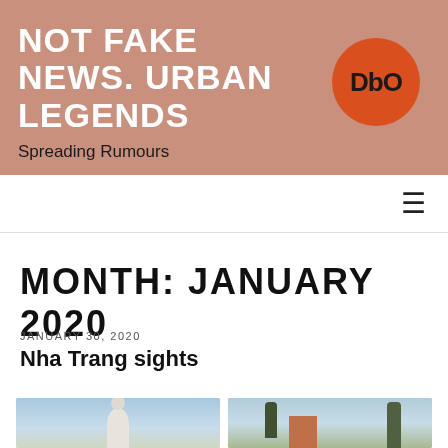NOT FAKE NEWS. URBAN LEGENDS
Spreading Rumours
[Figure (logo): Orange circle logo with text DbO]
≡
MONTH: JANUARY 2020
JANUARY 30, 2020
Nha Trang sights
[Figure (photo): Photo of white statue against blue sky with 'Read our blog' label]
[Figure (photo): Photo of a red/orange building with trees against blue sky]